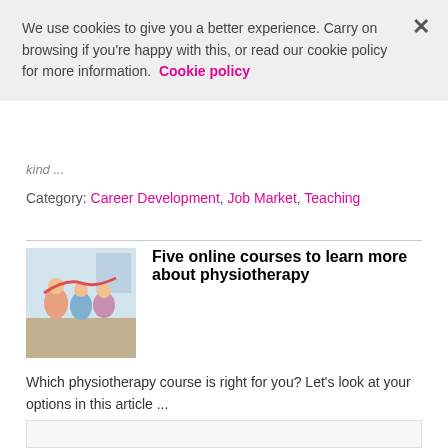We use cookies to give you a better experience. Carry on browsing if you're happy with this, or read our cookie policy for more information. Cookie policy
kind ...
Category: Career Development, Job Market, Teaching
Five online courses to learn more about physiotherapy
Which physiotherapy course is right for you? Let's look at your options in this article ...
Category: Career Development, Learning